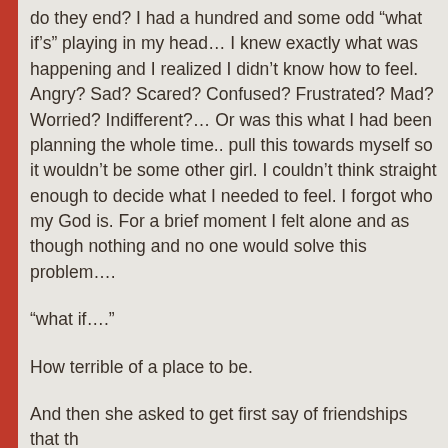do they end? I had a hundred and some odd “what if’s” playing in my head… I knew exactly what was happening and I realized I didn’t know how to feel. Angry? Sad? Scared? Confused? Frustrated? Mad? Worried? Indifferent?… Or was this what I had been planning the whole time.. pull this towards myself so it wouldn’t be some other girl. I couldn’t think straight enough to decide what I needed to feel. I forgot who my God is. For a brief moment I felt alone and as though nothing and no one would solve this problem….
“what if….”
How terrible of a place to be.
And then she asked to get first say of friendships that th